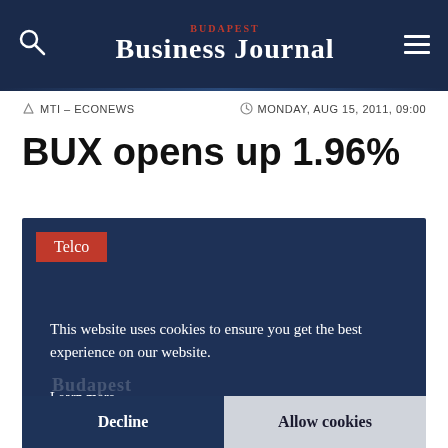BUDAPEST BUSINESS JOURNAL
MTI – ECONEWS      MONDAY, AUG 15, 2011, 09:00
BUX opens up 1.96%
Telco
This website uses cookies to ensure you get the best experience on our website. Learn more
Decline    Allow cookies